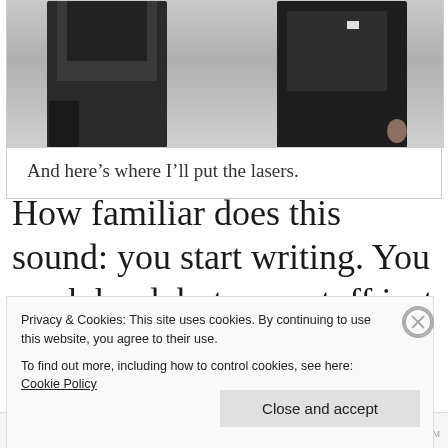[Figure (photo): Black and white photograph of two people in dark suits, partially cropped at the top]
And here’s where I’ll put the lasers.
How familiar does this sound: you start writing. You work hard, but your stuff just isn’t coming out the
Privacy & Cookies: This site uses cookies. By continuing to use this website, you agree to their use.
To find out more, including how to control cookies, see here: Cookie Policy
Close and accept